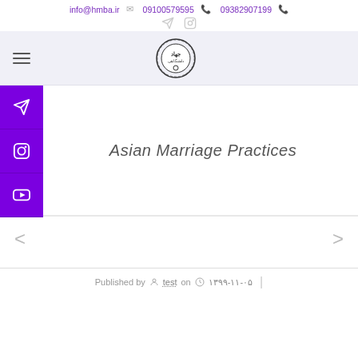info@hmba.ir  09100579595  09382907199
[Figure (logo): Circular logo with Persian text 'جهاد دانشگاهی' and gear/book design]
[Figure (infographic): Purple side buttons: Telegram, Instagram, YouTube social media icons]
Asian Marriage Practices
Published by test on ۱۳۹۹-۱۱-۰۵